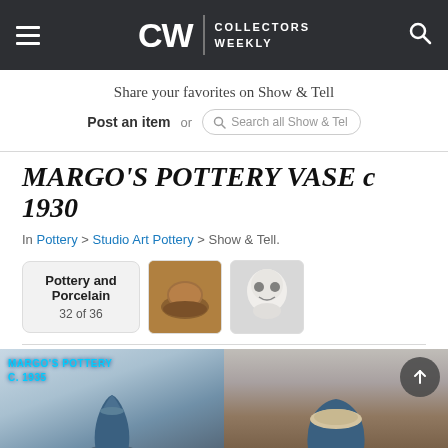CW | COLLECTORS WEEKLY
Share your favorites on Show & Tell
Post an item  or  Search all Show & Tell
MARGO'S POTTERY VASE c 1930
In Pottery > Studio Art Pottery > Show & Tell.
Pottery and Porcelain
32 of 36
[Figure (photo): Thumbnail of a brown pottery bowl]
[Figure (photo): Thumbnail of a white skull ceramic piece]
[Figure (photo): Left bottom image: Margo's Pottery c.1935 text overlay with blue pottery vase]
[Figure (photo): Right bottom image: Blue glazed pottery bowl/vase on table with scroll-up button]